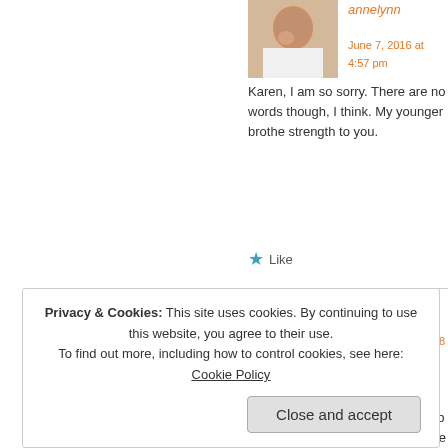[Figure (photo): Profile photo of annelynn - woman with child]
annelynn
June 7, 2016 at 4:57 pm
Karen, I am so sorry. There are no words though, I think. My younger brothe strength to you.
★ Like
[Figure (photo): Profile photo of dlgreene - couple hugging at event]
dlgreene
June 7, 2016 at ...
Oh annelynn b and Karen. Ple out anytime...
Privacy & Cookies: This site uses cookies. By continuing to use this website, you agree to their use.
To find out more, including how to control cookies, see here: Cookie Policy
Close and accept